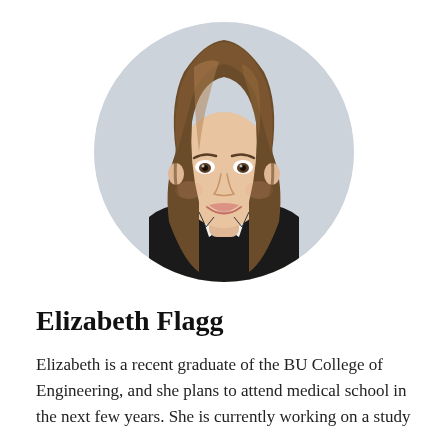[Figure (photo): Circular cropped professional headshot of a young woman with long brown hair, wearing a black blazer over a white top, smiling, with a light gray background.]
Elizabeth Flagg
Elizabeth is a recent graduate of the BU College of Engineering, and she plans to attend medical school in the next few years. She is currently working on a study